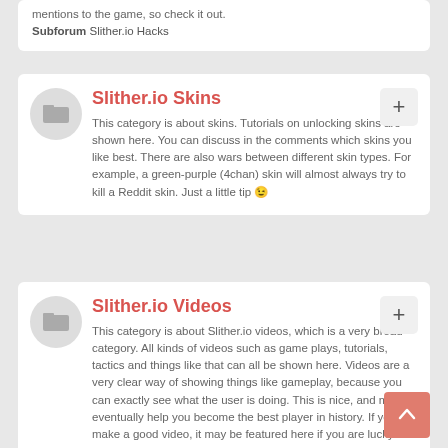mentions to the game, so check it out. Subforum Slither.io Hacks
Slither.io Skins
This category is about skins. Tutorials on unlocking skins are shown here. You can discuss in the comments which skins you like best. There are also wars between different skin types. For example, a green-purple (4chan) skin will almost always try to kill a Reddit skin. Just a little tip 😉
Slither.io Videos
This category is about Slither.io videos, which is a very broad category. All kinds of videos such as game plays, tutorials, tactics and things like that can all be shown here. Videos are a very clear way of showing things like gameplay, because you can exactly see what the user is doing. This is nice, and may eventually help you become the best player in history. If you make a good video, it may be featured here if you are lucky.